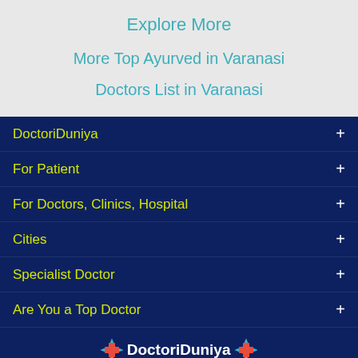Explore More
More Top Ayurved in Varanasi
Doctors List in Varanasi
DoctoriDuniya +
For Patient +
For Doctors, Clinics, Hospital +
Cities +
Specialist Doctor +
Are You a Top Doctor +
DoctoriDuniya
Copyright © 2019, DoctoriDuniya. All rights reserved.